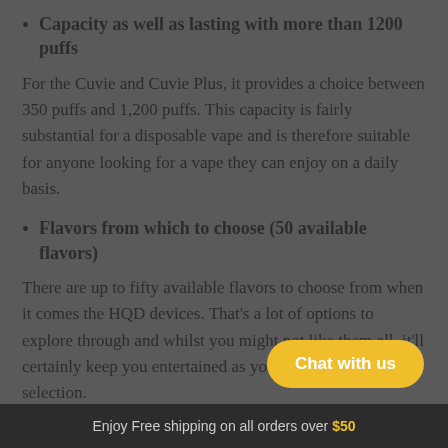Capacity as well as lasting with more than 1200 puffs
For the Cuvie and Cuvie Plus, it provides a choice between 350 puffs and 1,200 puffs. This capacity is fairly substantial for a disposable vape and is therefore suitable for anyone looking for a vape they can enjoy on a daily basis.
Flavors from which to choose (50 available flavors)
There are up to fifty available flavors to choose from when it comes the HQD devices. That's a lot of options to explore through and whilst you might not like them all, it'll certainly keep you entertained as you go through the selection.
Enjoy Free shipping on all orders over $50